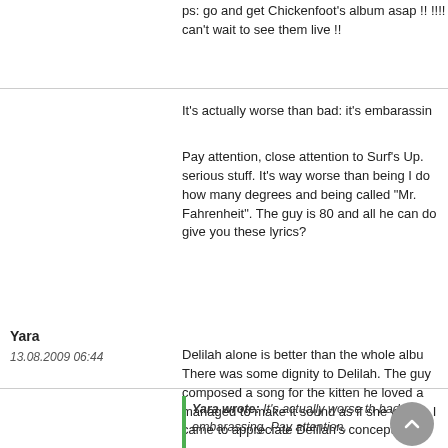ps: go and get Chickenfoot's album asap !! !!!! can't wait to see them live !!
It's actually worse than bad: it's embarassin
Pay attention, close attention to Surf's Up. serious stuff. It's way worse than being I do how many degrees and being called "Mr. Fahrenheit". The guy is 80 and all he can do give you these lyrics?
Yara
13.08.2009 06:44
Delilah alone is better than the whole albu There was some dignity to Delilah. The guy composed a song for the kitten he loved a managed to make it sound as if she were s I came to appreciate Delilah's concept ove
But The Cosmos Rock will forever tarnish C beautiful and important legacy.
Yara wrote:  It's actually worse th bad: it's embarassing. Pay attention,